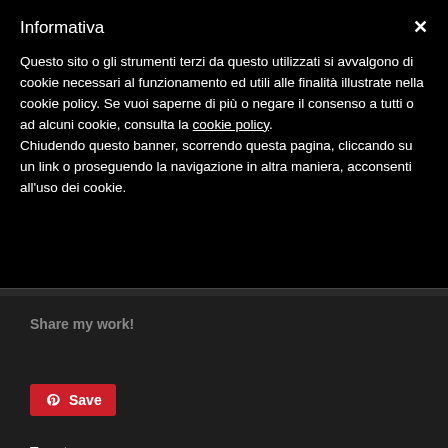Informativa
Questo sito o gli strumenti terzi da questo utilizzati si avvalgono di cookie necessari al funzionamento ed utili alle finalità illustrate nella cookie policy. Se vuoi saperne di più o negare il consenso a tutti o ad alcuni cookie, consulta la cookie policy. Chiudendo questo banner, scorrendo questa pagina, cliccando su un link o proseguendo la navigazione in altra maniera, acconsenti all'uso dei cookie.
Share my work!
Save
Tweet